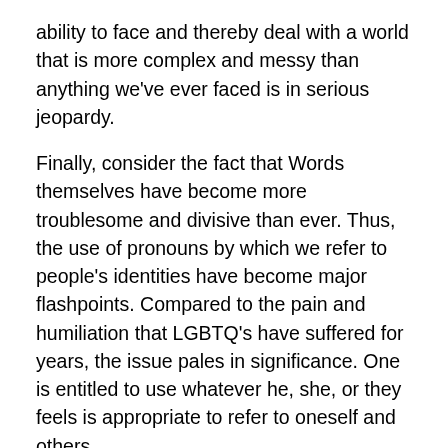ability to face and thereby deal with a world that is more complex and messy than anything we've ever faced is in serious jeopardy.
Finally, consider the fact that Words themselves have become more troublesome and divisive than ever. Thus, the use of pronouns by which we refer to people's identities have become major flashpoints. Compared to the pain and humiliation that LGBTQ's have suffered for years, the issue pales in significance. One is entitled to use whatever he, she, or they feels is appropriate to refer to oneself and others.
In addition, the Age of Dis and Misinformation has only made matters worse. Who and what can one Trust to provide True and Accurate Information about the multiple Threats that assault us on a daily basis? No wonder why